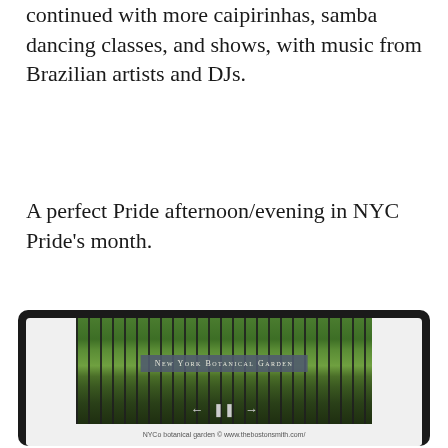continued with more caipirinhas, samba dancing classes, and shows, with music from Brazilian artists and DJs.
A perfect Pride afternoon/evening in NYC Pride's month.
[Figure (photo): A photo of the New York Botanical Garden iron fence and gate sign with lush green trees in the background, displayed inside a laptop screen frame with navigation arrows.]